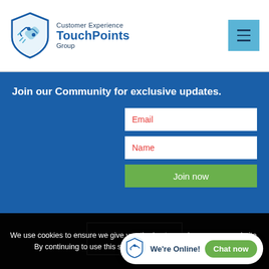[Figure (logo): Customer Experience TouchPoints Group logo with blue shield icon containing handshake graphic]
[Figure (other): Hamburger menu button (three horizontal lines) on light blue square background]
Join our Community for exclusive updates.
Email
Name
Join now
We use cookies to ensure we give you the best experience on our website. By continuing to use this site, you accept our use of cookies.
[Figure (logo): TouchPoints Group shield logo small version in chat widget]
We're Online!
Chat now